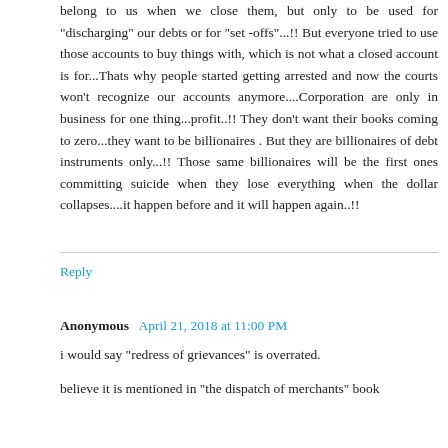belong to us when we close them, but only to be used for "discharging" our debts or for "set-offs"...!! But everyone tried to use those accounts to buy things with, which is not what a closed account is for...Thats why people started getting arrested and now the courts won't recognize our accounts anymore....Corporation are only in business for one thing...profit..!! They don't want their books coming to zero...they want to be billionaires . But they are billionaires of debt instruments only...!! Those same billionaires will be the first ones committing suicide when they lose everything when the dollar collapses....it happen before and it will happen again..!!
Reply
Anonymous April 21, 2018 at 11:00 PM
i would say "redress of grievances" is overrated.
believe it is mentioned in "the dispatch of merchants" book